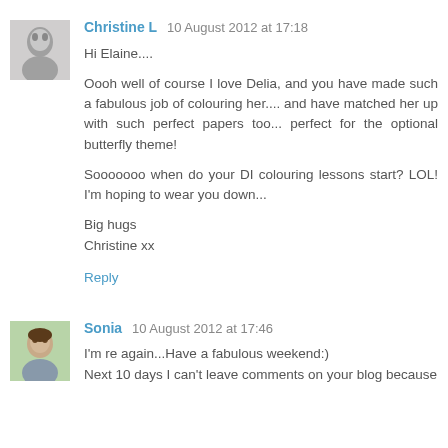[Figure (photo): Small grayscale avatar photo of Christine L]
Christine L  10 August 2012 at 17:18
Hi Elaine....
Oooh well of course I love Delia, and you have made such a fabulous job of colouring her.... and have matched her up with such perfect papers too... perfect for the optional butterfly theme!
Sooooooo when do your DI colouring lessons start? LOL! I'm hoping to wear you down...
Big hugs
Christine xx
Reply
[Figure (photo): Small color avatar photo of Sonia]
Sonia  10 August 2012 at 17:46
I'm re again...Have a fabulous weekend:)
Next 10 days I can't leave comments on your blog because